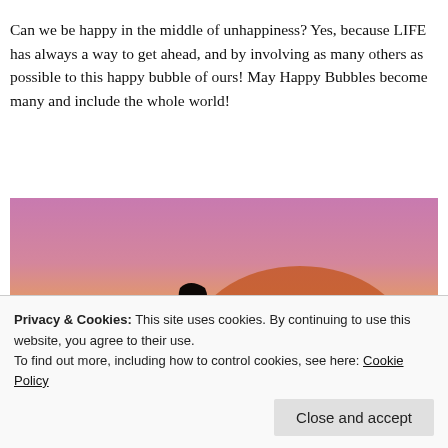Can we be happy in the middle of unhappiness? Yes, because LIFE has always a way to get ahead, and by involving as many others as possible to this happy bubble of ours! May Happy Bubbles become many and include the whole world!
[Figure (photo): Silhouette of a person with arms outstretched against a warm sunset sky with pink, purple, and golden-orange gradient background.]
Privacy & Cookies: This site uses cookies. By continuing to use this website, you agree to their use.
To find out more, including how to control cookies, see here: Cookie Policy